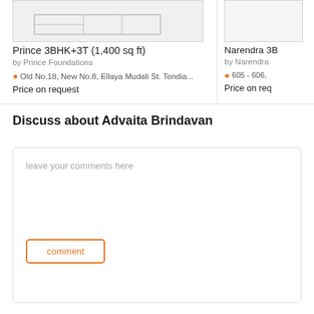Prince 3BHK+3T (1,400 sq ft)
by Prince Foundations
Old No.18, New No.8, Ellaya Mudali St. Tondia...
Price on request
Narendra 3B
by Narendra
605 - 606,
Price on req
Discuss about Advaita Brindavan
leave your comments here
comment